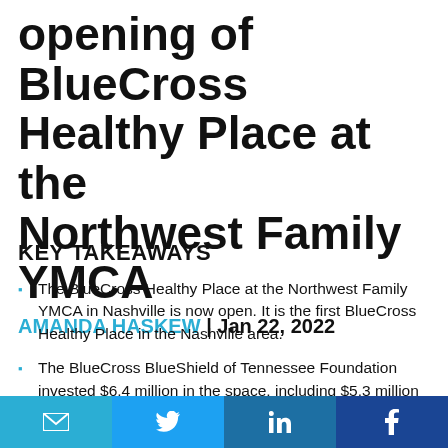opening of BlueCross Healthy Place at the Northwest Family YMCA
AMANDA HASKEW | Jan 22, 2022
KEY TAKEAWAYS
The BlueCross Healthy Place at the Northwest Family YMCA in Nashville is now open. It is the first BlueCross Healthy Place in the Nashville area.
The BlueCross BlueShield of Tennessee Foundation invested $6.4 million in the space, including $5.3 million to build it out and $1,060,000 in a maintenance fund.
Email | Twitter | LinkedIn | Facebook